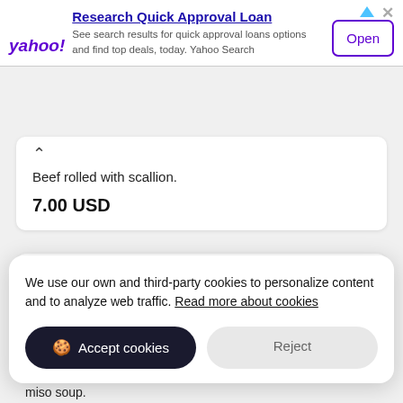[Figure (screenshot): Yahoo advertisement banner for 'Research Quick Approval Loan' with Open button]
Beef rolled with scallion.
7.00 USD
Chicken Negimaki
Chicken rolled with scallion.
We use our own and third-party cookies to personalize content and to analyze web traffic. Read more about cookies
Accept cookies
Reject
miso soup.